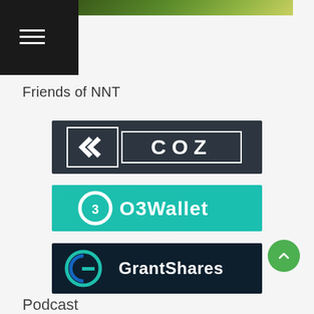[Figure (logo): Navigation hamburger menu on black background]
[Figure (photo): Partial green/yellow photo at top right, cropped]
Friends of NNT
[Figure (logo): COZ logo - dark slate background with stylized arrow icon and COZ text in white]
[Figure (logo): O3Wallet logo - teal/turquoise background with circular Q3 icon and O3Wallet text in white]
[Figure (logo): GrantShares logo - dark navy background with G icon in teal/blue gradient and GrantShares text in white]
[Figure (other): Green circular scroll-to-top button with upward chevron arrow]
Podcast